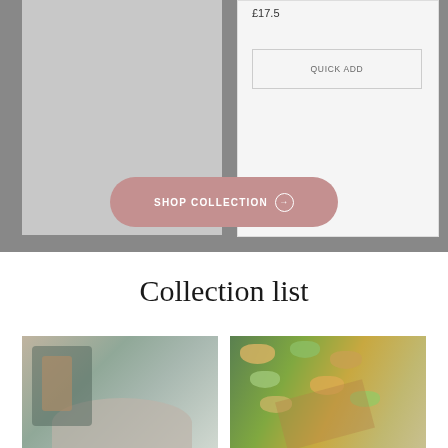[Figure (screenshot): Grey background section showing partial product cards: left card is a grey placeholder image, right card shows a price label '£17.5' and a 'QUICK ADD' button]
£17.5
QUICK ADD
SHOP COLLECTION →
Collection list
[Figure (photo): Photo of hands near a dog food bowl with a pet eating, teal furniture in background]
[Figure (photo): Photo of colorful dog bone-shaped treats scattered on a brown paper surface with green leaves]